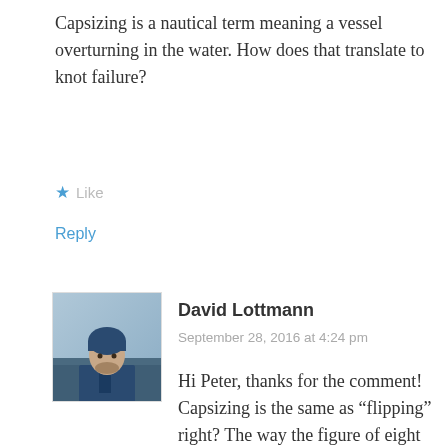Capsizing is a nautical term meaning a vessel overturning in the water. How does that translate to knot failure?
★ Like
Reply
[Figure (photo): Avatar photo of David Lottmann, a man in a blue hoodie outdoors]
David Lottmann
September 28, 2016 at 4:24 pm
Hi Peter, thanks for the comment! Capsizing is the same as “flipping” right? The way the figure of eight bend (and the flat overhand bend with enough force) usually fail in testing is they “flip over” repeatedly until they flip off the end tails and ultimately fail